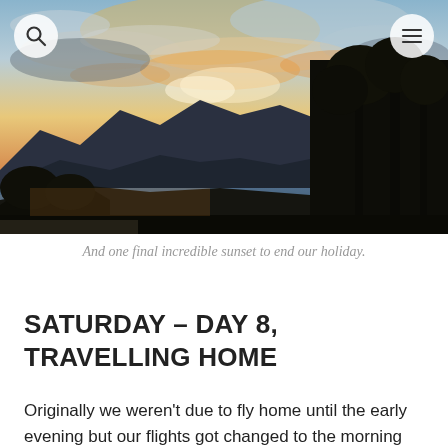[Figure (photo): Sunset landscape photo showing mountains silhouetted against an orange and blue sky with clouds, water visible in the middle ground, trees in silhouette on the right side.]
And one final incredible sunset to end our holiday.
SATURDAY – DAY 8, TRAVELLING HOME
Originally we weren't due to fly home until the early evening but our flights got changed to the morning